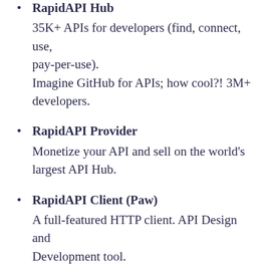RapidAPI Hub
35K+ APIs for developers (find, connect, use, pay-per-use).
Imagine GitHub for APIs; how cool?! 3M+ developers.
RapidAPI Provider
Monetize your API and sell on the world's largest API Hub.
RapidAPI Client (Paw)
A full-featured HTTP client. API Design and Development tool.
RapidAPI Testing
Comprehensive API Tests on schedule/demand in the cloud.